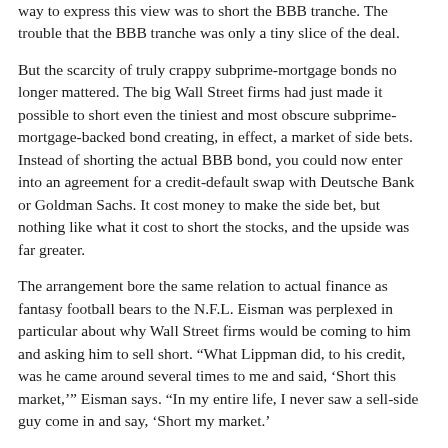way to express this view was to short the BBB tranche. The trouble that the BBB tranche was only a tiny slice of the deal.
But the scarcity of truly crappy subprime-mortgage bonds no longer mattered. The big Wall Street firms had just made it possible to short even the tiniest and most obscure subprime-mortgage-backed bond creating, in effect, a market of side bets. Instead of shorting the actual BBB bond, you could now enter into an agreement for a credit-default swap with Deutsche Bank or Goldman Sachs. It cost money to make the side bet, but nothing like what it cost to short the stocks, and the upside was far greater.
The arrangement bore the same relation to actual finance as fantasy football bears to the N.F.L. Eisman was perplexed in particular about why Wall Street firms would be coming to him and asking him to sell short. "What Lippman did, to his credit, was he came around several times to me and said, 'Short this market,'" Eisman says. "In my entire life, I never saw a sell-side guy come in and say, 'Short my market.'"
And short Eisman did—then he tried to get his mind around what he